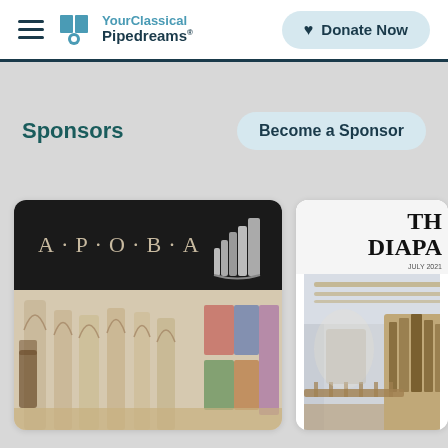YourClassical Pipedreams — navigation bar with Donate Now button
Sponsors
Become a Sponsor
[Figure (logo): APOBA logo on black background with organ pipes, over a watercolor illustration of a gothic cathedral interior with stained glass windows]
[Figure (photo): The Diapason magazine cover, July 2021, showing interior of a church with large pipe organ]